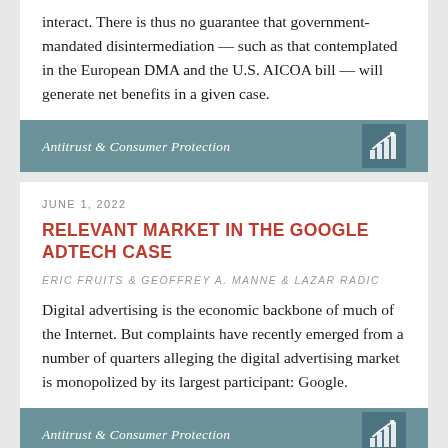interact. There is thus no guarantee that government-mandated disintermediation — such as that contemplated in the European DMA and the U.S. AICOA bill — will generate net benefits in a given case.
Antitrust & Consumer Protection
JUNE 1, 2022
RELEVANT MARKET IN THE GOOGLE ADTECH CASE
ERIC FRUITS & GEOFFREY A. MANNE & LAZAR RADIC
Digital advertising is the economic backbone of much of the Internet. But complaints have recently emerged from a number of quarters alleging the digital advertising market is monopolized by its largest participant: Google.
Antitrust & Consumer Protection